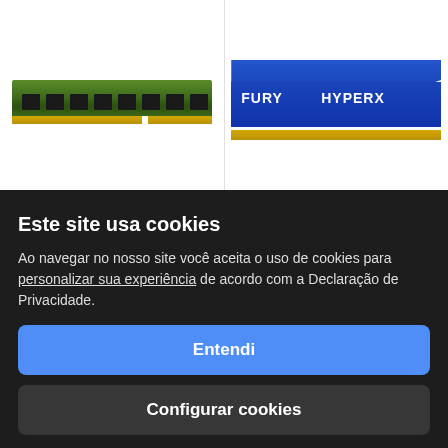[Figure (photo): Green DDR3/DDR4 RAM memory module on white background]
[Figure (photo): Blue HyperX Fury RAM memory module on white background]
Este site usa cookies
Ao navegar no nosso site você aceita o uso de cookies para personalizar sua experiência de acordo com a Declaração de Privacidade.
Entendi
rapidez.
Configurar cookies